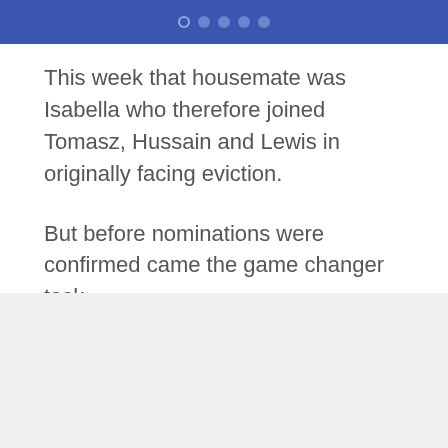● ● ● ● ●
This week that housemate was Isabella who therefore joined Tomasz, Hussain and Lewis in originally facing eviction.
But before nominations were confirmed came the game changer task.
The nominated housemates (excluding killer nominated Lewis) competed to save themselves ngside richest housemate Cameron Cole and